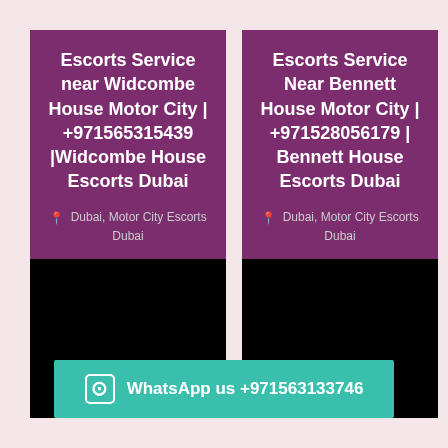[Figure (infographic): Left card with purple header section showing 'Escorts Service near Widcombe House Motor City | +971565315439 |Widcombe House Escorts Dubai' and location 'Dubai, Motor City Escorts Dubai', with black lower section]
[Figure (infographic): Right card with purple header section showing 'Escorts Service Near Bennett House Motor City | +971528056179 | Bennett House Escorts Dubai' and location 'Dubai, Motor City Escorts Dubai', with black lower section]
WhatsApp us +971563133746